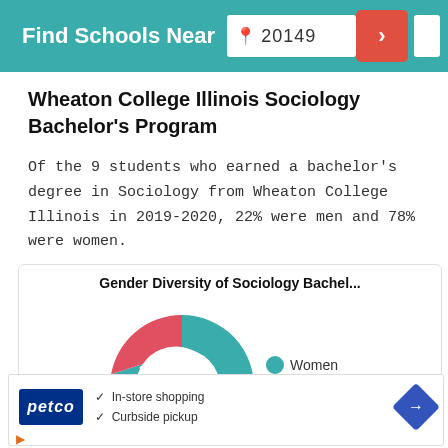Find Schools Near  20149
Wheaton College Illinois Sociology Bachelor's Program
Of the 9 students who earned a bachelor's degree in Sociology from Wheaton College Illinois in 2019-2020, 22% were men and 78% were women.
[Figure (donut-chart): Gender Diversity of Sociology Bachel...]